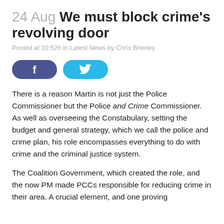24 Aug We must block crime's revolving door
Posted at 10:52h in Latest News by Chris Brierley
[Figure (other): Social media share buttons: Facebook (dark blue rounded button with 'f' icon) and Twitter (light blue rounded button with bird icon)]
There is a reason Martin is not just the Police Commissioner but the Police and Crime Commissioner. As well as overseeing the Constabulary, setting the budget and general strategy, which we call the police and crime plan, his role encompasses everything to do with crime and the criminal justice system.
The Coalition Government, which created the role, and the now PM made PCCs responsible for reducing crime in their area. A crucial element, and one proving